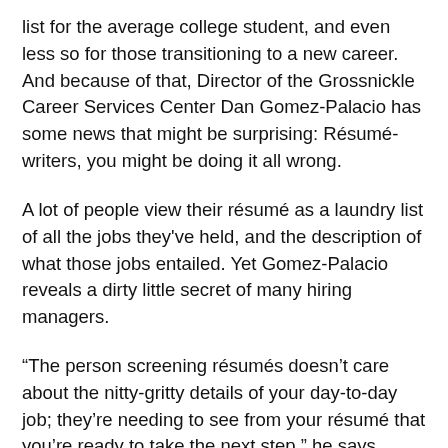list for the average college student, and even less so for those transitioning to a new career. And because of that, Director of the Grossnickle Career Services Center Dan Gomez-Palacio has some news that might be surprising: Résumé-writers, you might be doing it all wrong.
A lot of people view their résumé as a laundry list of all the jobs they've held, and the description of what those jobs entailed. Yet Gomez-Palacio reveals a dirty little secret of many hiring managers.
“The person screening résumés doesn’t care about the nitty-gritty details of your day-to-day job; they’re needing to see from your résumé that you’re ready to take the next step,” he says.
Gomez-Palacio gave an example of a former Columbia College student who had previously worked as the